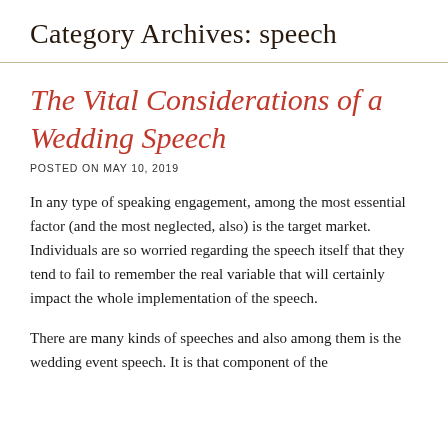Category Archives: speech
The Vital Considerations of a Wedding Speech
POSTED ON MAY 10, 2019
In any type of speaking engagement, among the most essential factor (and the most neglected, also) is the target market. Individuals are so worried regarding the speech itself that they tend to fail to remember the real variable that will certainly impact the whole implementation of the speech.
There are many kinds of speeches and also among them is the wedding event speech. It is that component of the